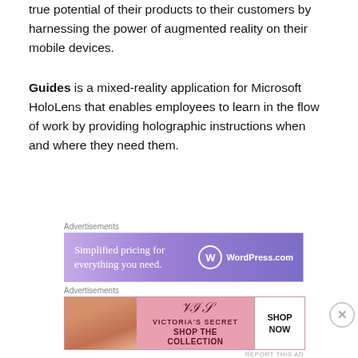true potential of their products to their customers by harnessing the power of augmented reality on their mobile devices.
Guides is a mixed-reality application for Microsoft HoloLens that enables employees to learn in the flow of work by providing holographic instructions when and where they need them.
[Figure (other): WordPress.com advertisement: 'Simplified pricing for everything you need.' with WordPress logo]
Power Platform: 2019 release wave 2 plan
The Microsoft Power Platform enables users and
[Figure (other): Victoria's Secret advertisement: 'SHOP THE COLLECTION' with SHOP NOW button]